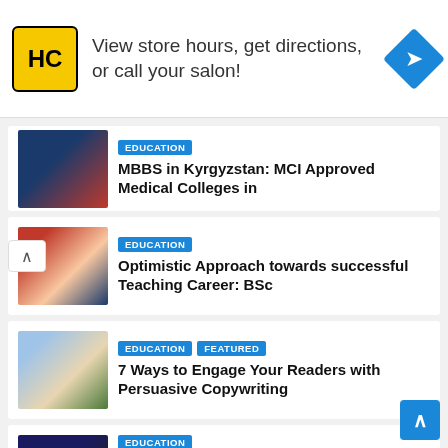[Figure (screenshot): Advertisement banner: HC logo (yellow), text 'View store hours, get directions, or call your salon!', blue diamond navigation icon]
MBBS in Kyrgyzstan: MCI Approved Medical Colleges in
Optimistic Approach towards successful Teaching Career: BSc
7 Ways to Engage Your Readers with Persuasive Copywriting
EDUCATION